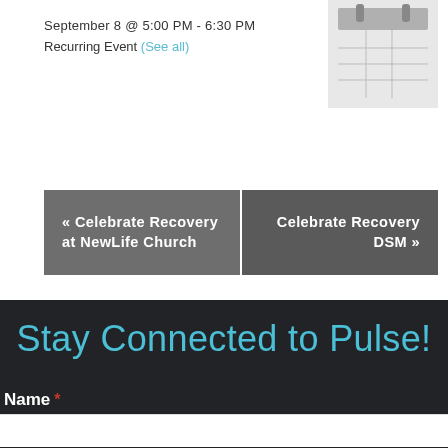September 8 @ 5:00 PM - 6:30 PM
Recurring Event (See all)
[Figure (illustration): Calendar icon - grey background with a grid of squares representing a calendar]
« Celebrate Recovery at NewLife Church
Celebrate Recovery DSM »
Stay Connected to Pulse!
Name *